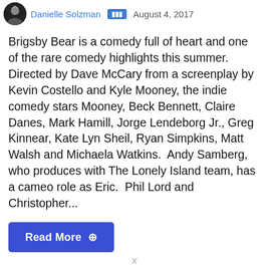Danielle Solzman  August 4, 2017
Brigsby Bear is a comedy full of heart and one of the rare comedy highlights this summer. Directed by Dave McCary from a screenplay by Kevin Costello and Kyle Mooney, the indie comedy stars Mooney, Beck Bennett, Claire Danes, Mark Hamill, Jorge Lendeborg Jr., Greg Kinnear, Kate Lyn Sheil, Ryan Simpkins, Matt Walsh and Michaela Watkins.  Andy Samberg, who produces with The Lonely Island team, has a cameo role as Eric.  Phil Lord and Christopher...
Read More ⊕